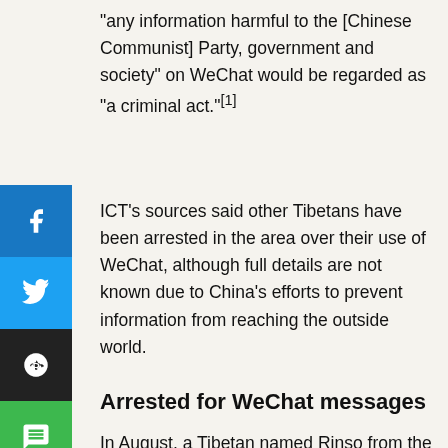“any information harmful to the [Chinese Communist] Party, government and society” on WeChat would be regarded as “a criminal act.”[1]
ICT’s sources said other Tibetans have been arrested in the area over their use of WeChat, although full details are not known due to China’s efforts to prevent information from reaching the outside world.
Arrested for WeChat messages
In August, a Tibetan named Rinso from the Amdo region was held in custody for 10 days after sharing a photograph of the Dalai Lama via WeChat, according to Radio Free Asia (RFA)